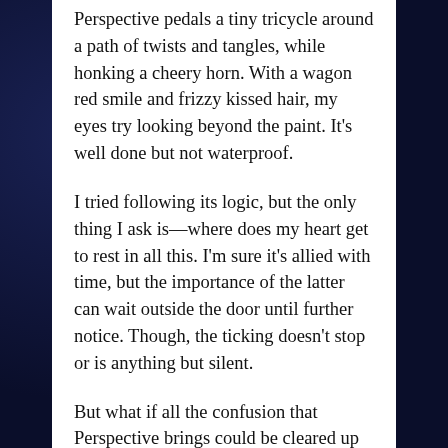Perspective pedals a tiny tricycle around a path of twists and tangles, while honking a cheery horn. With a wagon red smile and frizzy kissed hair, my eyes try looking beyond the paint. It's well done but not waterproof.
I tried following its logic, but the only thing I ask is—where does my heart get to rest in all this. I'm sure it's allied with time, but the importance of the latter can wait outside the door until further notice. Though, the ticking doesn't stop or is anything but silent.
But what if all the confusion that Perspective brings could be cleared up with a bunch of balloons. We could even hold a candlelit ceremony at sunset, say thanks, and watch everything ascend gracefully. Of course, I would welcome the winds' whispered favor.
Then again, I'm sure five seconds after a peaceful sendoff, the time that I had totally forgotten about